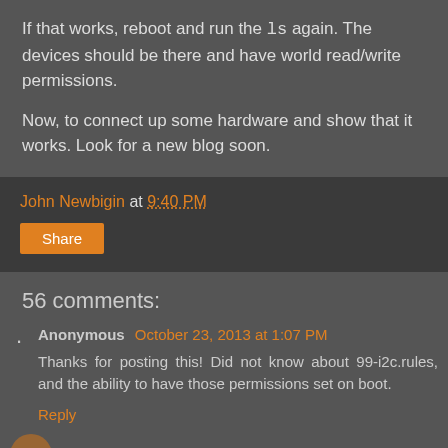If that works, reboot and run the ls again. The devices should be there and have world read/write permissions.
Now, to connect up some hardware and show that it works. Look for a new blog soon.
John Newbigin at 9:40 PM
Share
56 comments:
Anonymous October 23, 2013 at 1:07 PM
Thanks for posting this! Did not know about 99-i2c.rules, and the ability to have those permissions set on boot.
Reply